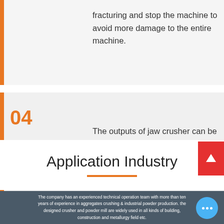fracturing and stop the machine to avoid more damage to the entire machine.
04 The outputs of jaw crusher can be easily adjusted to meet client's different demands;
Application Industry
The company has an experienced technical operation team with more than ten years of experience in aggregates crushing & industrial powder production. the designed crusher and powder mill are widely used in all kinds of building, construction and metallurgy field etc.